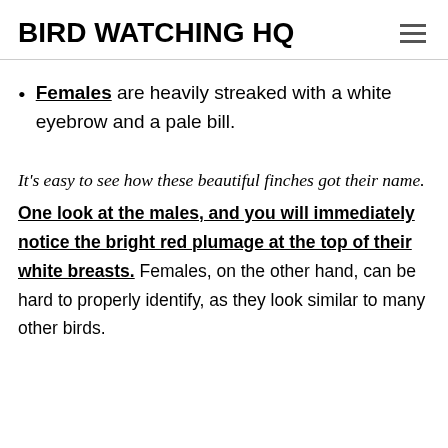BIRD WATCHING HQ
Females are heavily streaked with a white eyebrow and a pale bill.
It's easy to see how these beautiful finches got their name. One look at the males, and you will immediately notice the bright red plumage at the top of their white breasts. Females, on the other hand, can be hard to properly identify, as they look similar to many other birds.